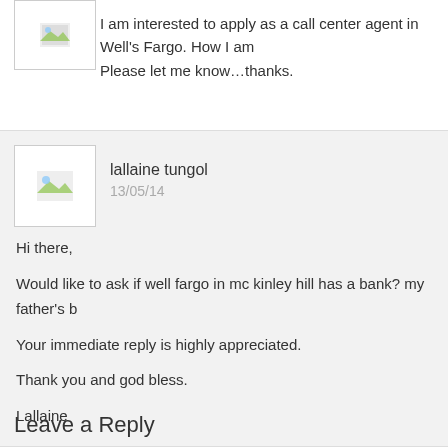I am interested to apply as a call center agent in Well's Fargo. How I am Please let me know…thanks.
[Figure (illustration): User avatar placeholder image for lallaine tungol comment]
lallaine tungol
13/05/14
Hi there,

Would like to ask if well fargo in mc kinley hill has a bank? my father's b

Your immediate reply is highly appreciated.

Thank you and god bless.

Lallaine
[Figure (illustration): User avatar placeholder image for julie comment]
julie
13/06/08
Do you have a non-voice tech support vacancy? How much is the start
Leave a Reply